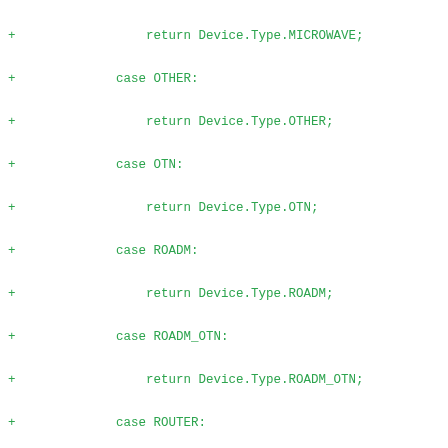diff/code listing showing switch-case statements returning Device.Type enum values
+                 return Device.Type.MICROWAVE;
+             case OTHER:
+                 return Device.Type.OTHER;
+             case OTN:
+                 return Device.Type.OTN;
+             case ROADM:
+                 return Device.Type.ROADM;
+             case ROADM_OTN:
+                 return Device.Type.ROADM_OTN;
+             case ROUTER:
+                 return Device.Type.ROUTER;
+             case SWITCH:
+                 return Device.Type.SWITCH;
+             case VIRTUAL:
+                 return Device.Type.VIRTUAL;
+
+             case UNRECOGNIZED:
+             default:
+                 log.warn("Unexpected DeviceType: {}",
+                 return Device.Type.OTHER;
+         }
+     }